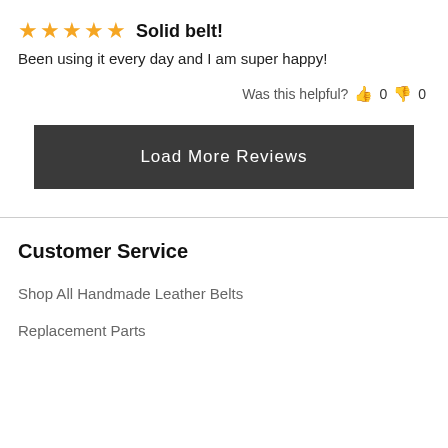★★★★★ Solid belt!
Been using it every day and I am super happy!
Was this helpful? 👍 0 👎 0
[Figure (other): Dark gray button labeled 'Load More Reviews']
Customer Service
Shop All Handmade Leather Belts
Replacement Parts